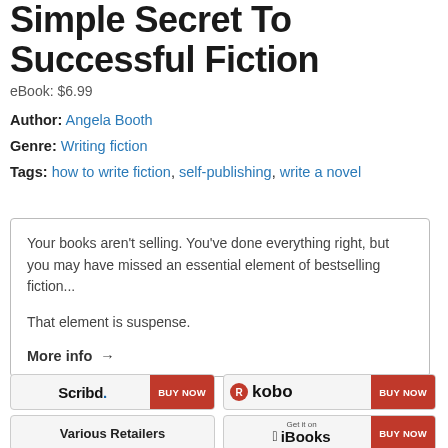Simple Secret To Successful Fiction
eBook: $6.99
Author: Angela Booth
Genre: Writing fiction
Tags: how to write fiction, self-publishing, write a novel
Your books aren't selling. You've done everything right, but you may have missed an essential element of bestselling fiction...

That element is suspense.

More info →
[Figure (other): Scribd BUY NOW button]
[Figure (other): Kobo BUY NOW button]
[Figure (other): Various Retailers button]
[Figure (other): Get it on iBooks BUY NOW button]